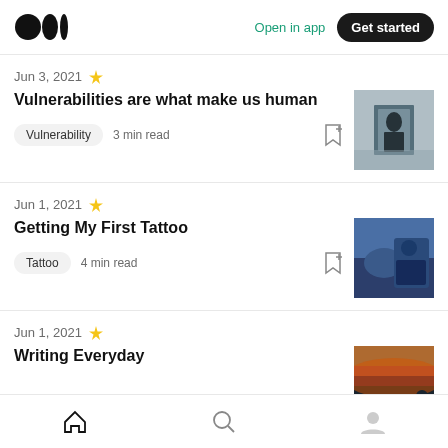Medium logo | Open in app | Get started
Jun 3, 2021 ★
Vulnerabilities are what make us human
Vulnerability  3 min read
Jun 1, 2021 ★
Getting My First Tattoo
Tattoo  4 min read
Jun 1, 2021 ★
Writing Everyday
Home | Search | Profile